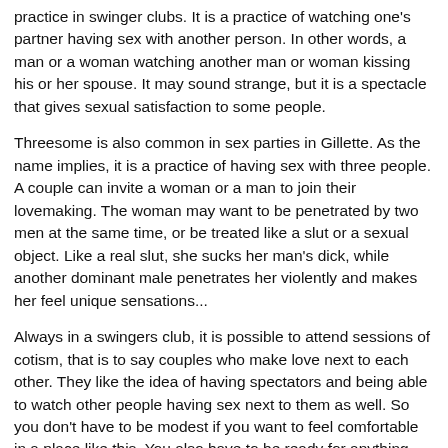practice in swinger clubs. It is a practice of watching one's partner having sex with another person. In other words, a man or a woman watching another man or woman kissing his or her spouse. It may sound strange, but it is a spectacle that gives sexual satisfaction to some people.
Threesome is also common in sex parties in Gillette. As the name implies, it is a practice of having sex with three people. A couple can invite a woman or a man to join their lovemaking. The woman may want to be penetrated by two men at the same time, or be treated like a slut or a sexual object. Like a real slut, she sucks her man's dick, while another dominant male penetrates her violently and makes her feel unique sensations...
Always in a swingers club, it is possible to attend sessions of cotism, that is to say couples who make love next to each other. They like the idea of having spectators and being able to watch other people having sex next to them as well. So you don't have to be modest if you want to feel comfortable in a place like this. You also have to be ready for anything, because practices like the sex party in Gillette can destabilize many people.